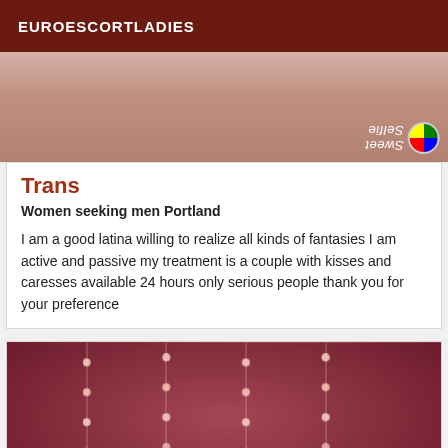EUROESCORTLADIES
[Figure (photo): Partial photo of a person, top portion cropped, with a Sweet Selfie watermark/badge visible in upper right corner]
Trans
Women seeking men Portland
I am a good latina willing to realize all kinds of fantasies I am active and passive my treatment is a couple with kisses and caresses available 24 hours only serious people thank you for your preference
[Figure (photo): Person lying down with fairy/string lights in the background against a red/pink backdrop, person has tattoos visible]